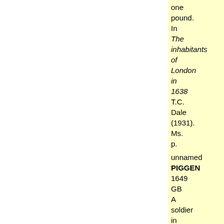one pound. In The inhabitants of London in 1638 T.C. Dale (1931). Ms. p. 251 http://www.british-history.ac.uk/, searched 2005/01
unnamed PIGGEN 1649 GB A soldier in Cromwell's army